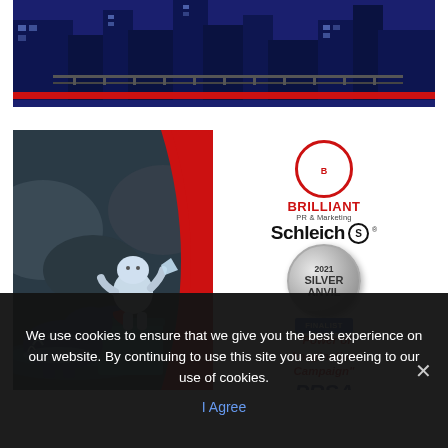[Figure (photo): Top banner image showing dark blue industrial/urban scene with red bottom stripe]
[Figure (illustration): Advertisement card for Brilliant PR & Marketing featuring Schleich toy figures (yeti and dinosaur scene), 2021 Silver Anvil Finalist badge, 'Power of Imagination Campaign' text, and PRSA logo]
We use cookies to ensure that we give you the best experience on our website. By continuing to use this site you are agreeing to our use of cookies.
I Agree